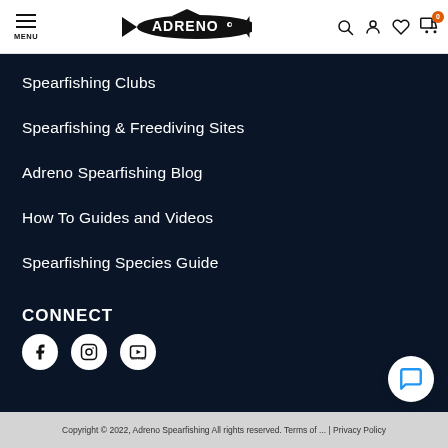[Figure (logo): Adreno spearfishing logo with fish silhouette and text]
Spearfishing Clubs
Spearfishing & Freediving Sites
Adreno Spearfishing Blog
How To Guides and Videos
Spearfishing Species Guide
CONNECT
[Figure (illustration): Social media icons: Facebook, Instagram, YouTube]
Copyright © 2022, Adreno Spearfishing All rights reserved. Terms of ... | Privacy Policy